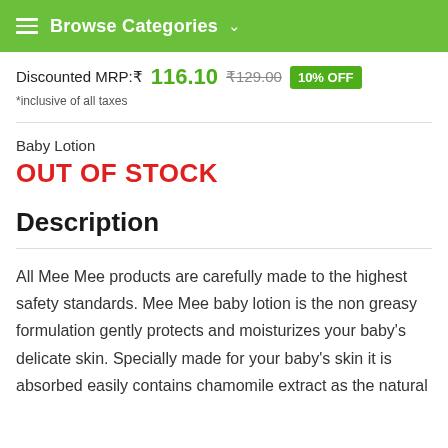Browse Categories
Discounted MRP: ₹ 116.10  ₹129.00  10% OFF
*inclusive of all taxes
Baby Lotion
OUT OF STOCK
Description
All Mee Mee products are carefully made to the highest safety standards. Mee Mee baby lotion is the non greasy formulation gently protects and moisturizes your baby's delicate skin. Specially made for your baby's skin it is absorbed easily contains chamomile extract as the natural